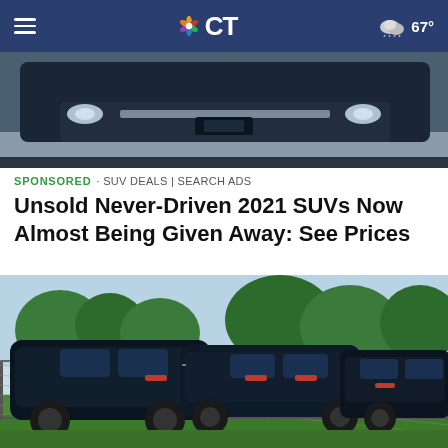NBC CT — hamburger menu, NBC CT logo, 67° weather
[Figure (photo): Close-up of dark blue/black vehicle front undercarriage and bumper area]
SPONSORED · SUV DEALS | SEARCH ADS
Unsold Never-Driven 2021 SUVs Now Almost Being Given Away: See Prices
[Figure (photo): Dark SUVs parked behind a chain-link fence on a green grassy lot with trees in the background]